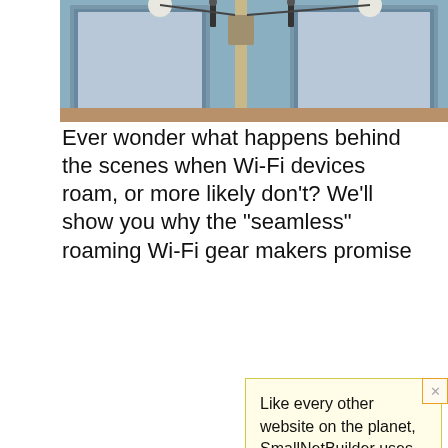[Figure (photo): Photo of Wi-Fi hardware/antennas mounted on equipment, top portion visible]
Ever wonder what happens behind the scenes when Wi-Fi devices roam, or more likely don't? We'll show you why the "seamless" roaming Wi-Fi gear makers promise...
How To...
[Figure (illustration): Network diagram showing MySSID wireless access point and a mobile device]
Like every other website on the planet, SmallNetBuilder uses cookies. Our cookies track login status, but we only allow admins to log in anyway, so those don't apply to you. Any other cookies you pick up during your visit come from advertisers, which we don't control.
If you continue to use the site, you agree to tolerate our use of cookies. Thank you!